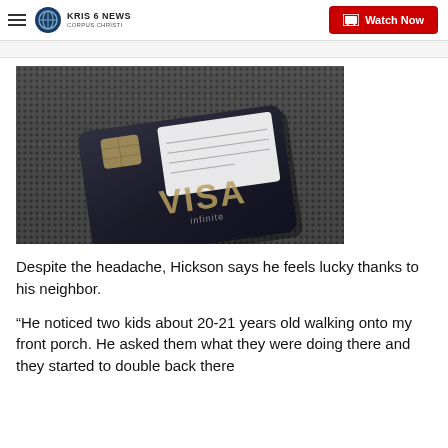KRIS 6 NEWS CORPUS CHRISTI — Watch Now
[Figure (photo): Close-up photo of a dark navy/black Visa Infinite credit card resting on a dark textured fabric surface]
Despite the headache, Hickson says he feels lucky thanks to his neighbor.
“He noticed two kids about 20-21 years old walking onto my front porch. He asked them what they were doing there and they started to double back there